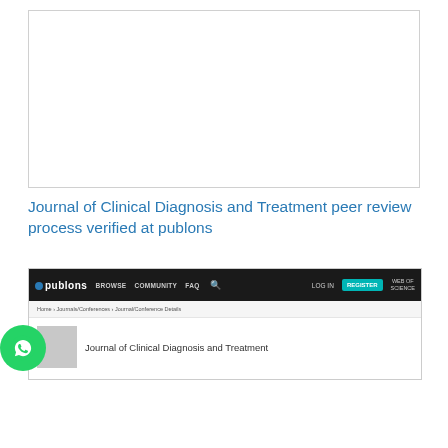[Figure (screenshot): Empty white box / advertisement placeholder area at top of page]
Journal of Clinical Diagnosis and Treatment peer review process verified at publons
[Figure (screenshot): Screenshot of the Publons website showing the Journal of Clinical Diagnosis and Treatment page. The screenshot shows the Publons navigation bar in black with logo, Browse, Community, FAQ, search icon, Log In, Register buttons and Web of Science branding. Below is a breadcrumb navigation and a journal entry row showing a gray thumbnail and the journal title 'Journal of Clinical Diagnosis and Treatment'.]
[Figure (other): WhatsApp circular button overlay on the left side of the page]